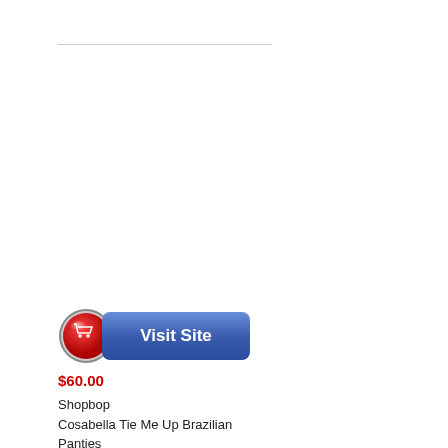[Figure (illustration): Horizontal divider line near top of page]
[Figure (illustration): A blue rounded rectangular 'Visit Site' button with a red shopping cart icon on the left side. The button has a gradient blue background with white bold text reading 'Visit Site'.]
$60.00
Shopbop
Cosabella Tie Me Up Brazilian Panties